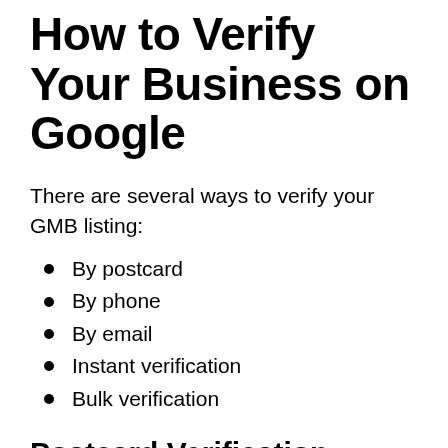How to Verify Your Business on Google
There are several ways to verify your GMB listing:
By postcard
By phone
By email
Instant verification
Bulk verification
Postcard Verification
Step 1: If you aren't already logged